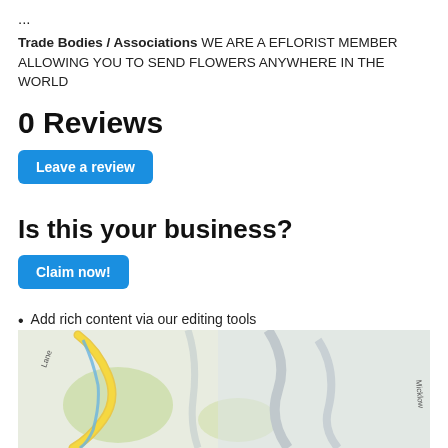...
Trade Bodies / Associations WE ARE A EFLORIST MEMBER ALLOWING YOU TO SEND FLOWERS ANYWHERE IN THE WORLD
0 Reviews
Leave a review
Is this your business?
Claim now!
Add rich content via our editing tools
Remove ads from your listing
Appear more prominently in search results
[Figure (map): Street map showing roads including a yellow curved road and green areas, with 'Lane' and 'Micklow' labels visible]